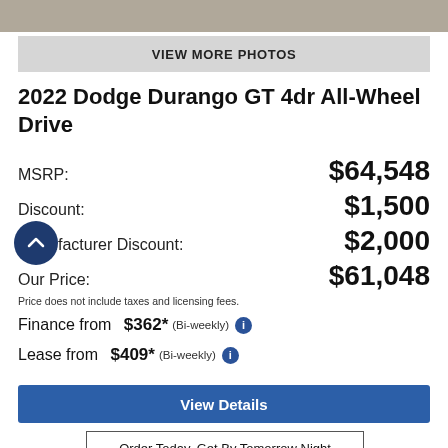[Figure (photo): Top portion of a car photo strip (gravel/pavement visible)]
VIEW MORE PHOTOS
2022 Dodge Durango GT 4dr All-Wheel Drive
MSRP: $64,548
Discount: $1,500
Manufacturer Discount: $2,000
Our Price: $61,048
Price does not include taxes and licensing fees.
Finance from $362* (Bi-weekly)
Lease from $409* (Bi-weekly)
View Details
Order Today, Get By Tomorrow Night